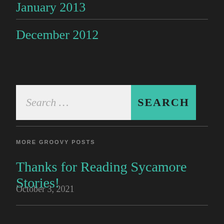January 2013
December 2012
[Figure (other): Search bar with text input showing 'Search ...' and a teal SEARCH button]
MORE GROOVY POSTS
Thanks for Reading Sycamore Stories!
October 3, 2021